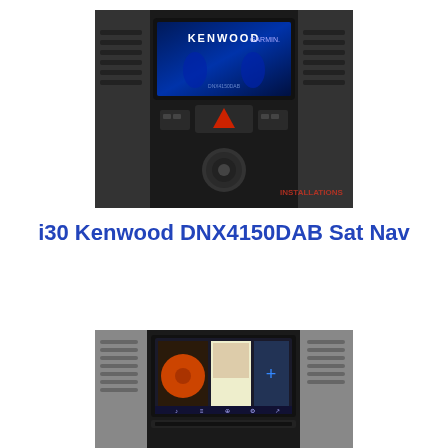[Figure (photo): Photo of a Hyundai i30 car dashboard center console showing a Kenwood DNX4150DAB sat nav unit installed, with the blue Kenwood startup screen visible, surrounded by the car's air vents and controls.]
i30 Kenwood DNX4150DAB Sat Nav
[Figure (photo): Second photo of a Hyundai i30 car dashboard showing the Kenwood DNX4150DAB unit with a media/navigation interface displayed on screen, showing album art and menu icons.]